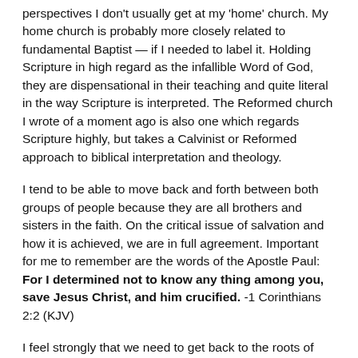perspectives I don't usually get at my 'home' church. My home church is probably more closely related to fundamental Baptist — if I needed to label it. Holding Scripture in high regard as the infallible Word of God, they are dispensational in their teaching and quite literal in the way Scripture is interpreted. The Reformed church I wrote of a moment ago is also one which regards Scripture highly, but takes a Calvinist or Reformed approach to biblical interpretation and theology.
I tend to be able to move back and forth between both groups of people because they are all brothers and sisters in the faith. On the critical issue of salvation and how it is achieved, we are in full agreement. Important for me to remember are the words of the Apostle Paul: For I determined not to know any thing among you, save Jesus Christ, and him crucified. -1 Corinthians 2:2 (KJV)
I feel strongly that we need to get back to the roots of